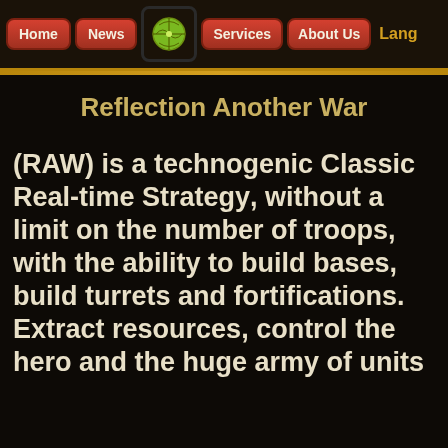Home | News | [logo] | Services | About Us | Lang
Reflection Another War
(RAW) is a technogenic Classic Real-time Strategy, without a limit on the number of troops, with the ability to build bases, build turrets and fortifications. Extract resources, control the hero and the huge army of units